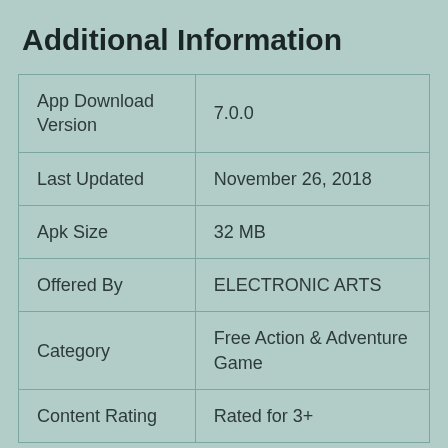Additional Information
| App Download Version | 7.0.0 |
| Last Updated | November 26, 2018 |
| Apk Size | 32 MB |
| Offered By | ELECTRONIC ARTS |
| Category | Free Action & Adventure Game |
| Content Rating | Rated for 3+ |